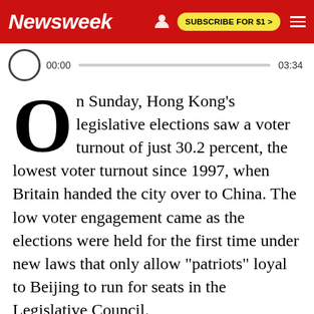Newsweek | SUBSCRIBE FOR $1 >
[Figure (screenshot): Audio player bar showing 00:00 start time and 03:34 end time with progress track]
On Sunday, Hong Kong's legislative elections saw a voter turnout of just 30.2 percent, the lowest voter turnout since 1997, when Britain handed the city over to China. The low voter engagement came as the elections were held for the first time under new laws that only allow "patriots" loyal to Beijing to run for seats in the Legislative Council.